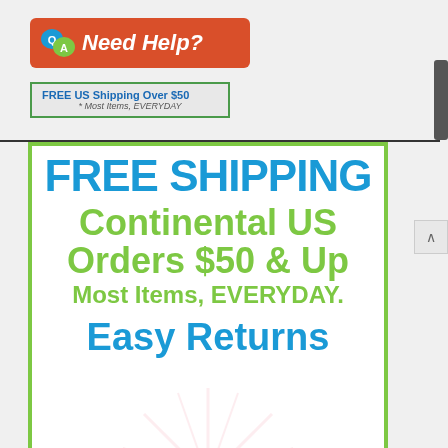[Figure (logo): Need Help? Q&A banner logo with orange/red background and white italic text]
[Figure (infographic): FREE US Shipping Over $50 banner with green border, blue bold text and italic subtitle '* Most Items, EVERYDAY']
[Figure (infographic): Large promotional banner with green border reading FREE SHIPPING Continental US Orders $50 & Up Most Items EVERYDAY and Easy Returns below with decorative starburst watermark]